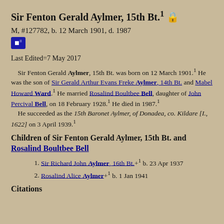Sir Fenton Gerald Aylmer, 15th Bt.¹ 🔒
M, #127782, b. 12 March 1901, d. 1987
[Figure (other): Blue family tree icon button]
Last Edited=7 May 2017
Sir Fenton Gerald Aylmer, 15th Bt. was born on 12 March 1901.¹ He was the son of Sir Gerald Arthur Evans Freke Aylmer, 14th Bt. and Mabel Howard Ward.¹ He married Rosalind Boultbee Bell, daughter of John Percival Bell, on 18 February 1928.¹ He died in 1987.¹ He succeeded as the 15th Baronet Aylmer, of Donadea, co. Kildare [I., 1622] on 3 April 1939.¹
Children of Sir Fenton Gerald Aylmer, 15th Bt. and Rosalind Boultbee Bell
Sir Richard John Aylmer, 16th Bt. +¹ b. 23 Apr 1937
Rosalind Alice Aylmer +¹ b. 1 Jan 1941
Citations